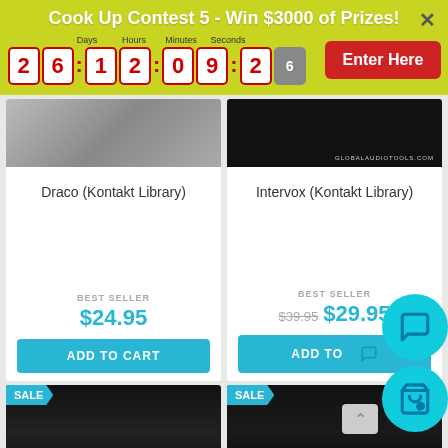Cook Up Contest 5 - Win $3000 of Prizes!
Days 26 : Hours 12 : Minutes 09 : Seconds 26
Enter Here
×
Draco (Kontakt Library)
BEST SELLER
$24.95
ADD TO CART
Intervox (Kontakt Library)
BEST SELLER
$39.95 $29.95
ADD TO
SALE
SALE